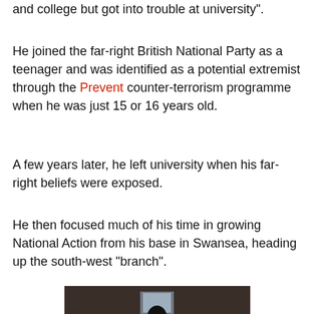and college but got into trouble at university".
He joined the far-right British National Party as a teenager and was identified as a potential extremist through the Prevent counter-terrorism programme when he was just 15 or 16 years old.
A few years later, he left university when his far-right beliefs were exposed.
He then focused much of his time in growing National Action from his base in Swansea, heading up the south-west "branch".
[Figure (photo): A person in dark clothing holding or wearing a flag with a lightning bolt symbol, standing indoors in a dimly lit space.]